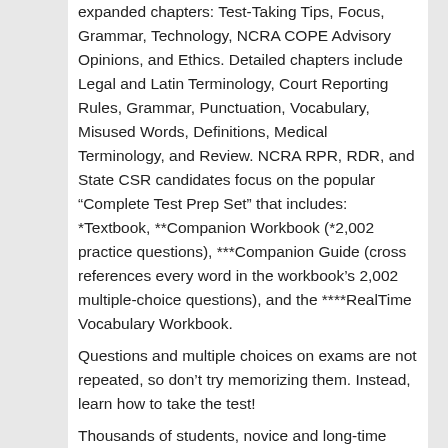expanded chapters: Test-Taking Tips, Focus, Grammar, Technology, NCRA COPE Advisory Opinions, and Ethics. Detailed chapters include Legal and Latin Terminology, Court Reporting Rules, Grammar, Punctuation, Vocabulary, Misused Words, Definitions, Medical Terminology, and Review. NCRA RPR, RDR, and State CSR candidates focus on the popular “Complete Test Prep Set” that includes: *Textbook, **Companion Workbook (*2,002 practice questions), ***Companion Guide (cross references every word in the workbook’s 2,002 multiple-choice questions), and the ****RealTime Vocabulary Workbook.
Questions and multiple choices on exams are not repeated, so don’t try memorizing them. Instead, learn how to take the test!
Thousands of students, novice and long-time reporters advance skills with Purple Books, CRR Books, Test-Prep Material.